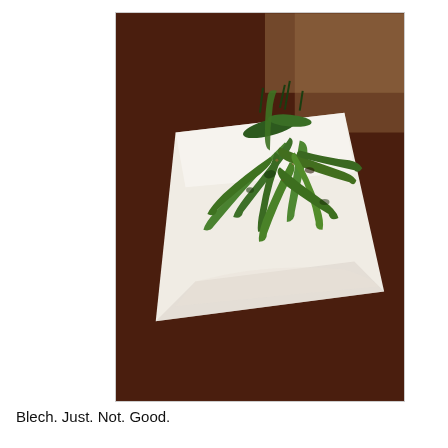[Figure (photo): A white square plate on a dark brown wooden table, holding a pile of blistered/roasted green shishito peppers with stems.]
Blech. Just. Not. Good.